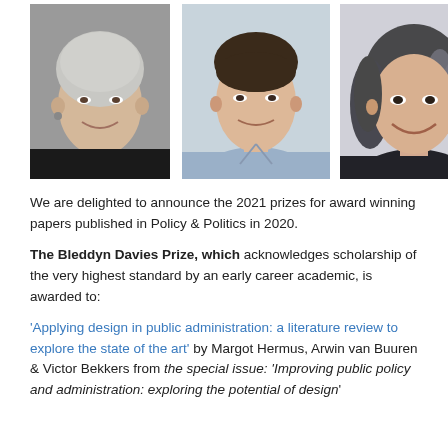[Figure (photo): Three headshot photos side by side: an older woman with short grey-white hair in a dark jacket, a younger man with short dark hair in a light blue shirt, and a younger woman with dark hair with highlights smiling, in a dark top.]
We are delighted to announce the 2021 prizes for award winning papers published in Policy & Politics in 2020.
The Bleddyn Davies Prize, which acknowledges scholarship of the very highest standard by an early career academic, is awarded to:
'Applying design in public administration: a literature review to explore the state of the art' by Margot Hermus, Arwin van Buuren & Victor Bekkers from the special issue: 'Improving public policy and administration: exploring the potential of design'.